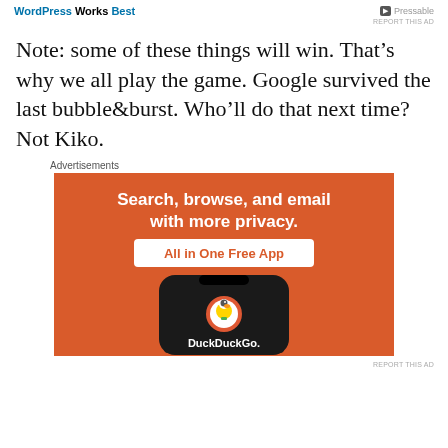WordPress Works Best | Pressable
REPORT THIS AD
Note: some of these things will win. That’s why we all play the game. Google survived the last bubble&burst. Who’ll do that next time? Not Kiko.
Advertisements
[Figure (photo): DuckDuckGo advertisement: orange background with text 'Search, browse, and email with more privacy. All in One Free App' and a phone showing the DuckDuckGo duck logo and the text DuckDuckGo.]
REPORT THIS AD